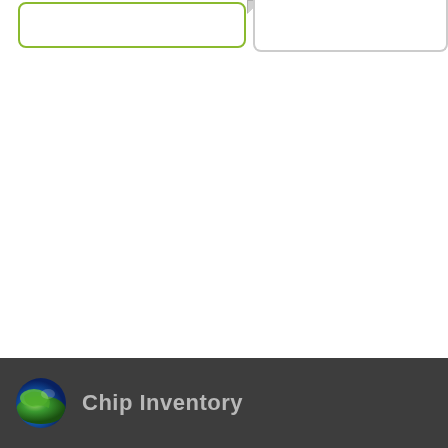[Figure (screenshot): Application UI showing two tab panels - a left tab with green/yellow border and a right tab with gray shadow/fold, both empty white panels. Bottom dark gray footer bar with globe logo and 'Chip Inventory' title text.]
Chip Inventory